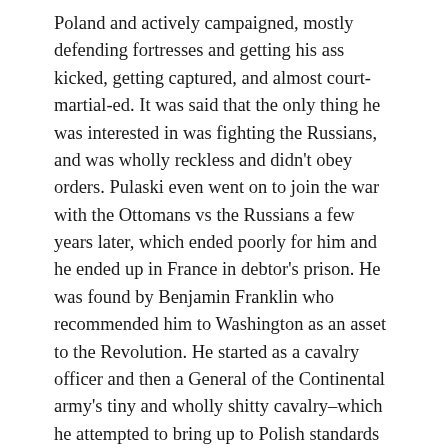Poland and actively campaigned, mostly defending fortresses and getting his ass kicked, getting captured, and almost court-martial-ed. It was said that the only thing he was interested in was fighting the Russians, and was wholly reckless and didn't obey orders. Pulaski even went on to join the war with the Ottomans vs the Russians a few years later, which ended poorly for him and he ended up in France in debtor's prison. He was found by Benjamin Franklin who recommended him to Washington as an asset to the Revolution. He started as a cavalry officer and then a General of the Continental army's tiny and wholly shitty cavalry–which he attempted to bring up to Polish standards of training and discipline. He's called the Father of American Cavalry and man, at that time, we needed one.
Under Washington, he performed a successful